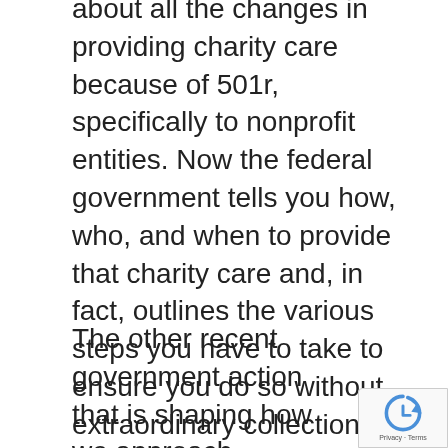about all the changes in providing charity care because of 501r, specifically to nonprofit entities. Now the federal government tells you how, who, and when to provide that charity care and, in fact, outlines the various steps you have to take to ensure you do so without extraordinary collection efforts. Mark Rukavina, one of our guest writers this quarter, does an excellent job of summarizing what is required under 501r in his article.
The other recent government action that is shaping how we approach receivables is the FCC's guidelines on cell phones.